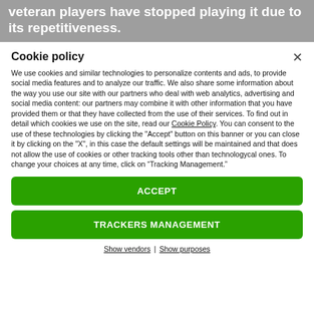veteran players have stopped playing it due to its repetitiveness.
Cookie policy
We use cookies and similar technologies to personalize contents and ads, to provide social media features and to analyze our traffic. We also share some information about the way you use our site with our partners who deal with web analytics, advertising and social media content: our partners may combine it with other information that you have provided them or that they have collected from the use of their services. To find out in detail which cookies we use on the site, read our Cookie Policy. You can consent to the use of these technologies by clicking the "Accept" button on this banner or you can close it by clicking on the "X", in this case the default settings will be maintained and that does not allow the use of cookies or other tracking tools other than technologycal ones. To change your choices at any time, click on “Tracking Management.”
ACCEPT
TRACKERS MANAGEMENT
Show vendors | Show purposes